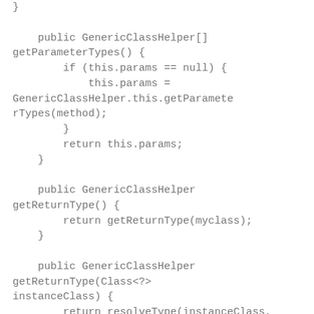}

    public GenericClassHelper[] getParameterTypes() {
        if (this.params == null) {
            this.params = GenericClassHelper.this.getParameterTypes(method);
        }
        return this.params;
    }

    public GenericClassHelper getReturnType() {
        return getReturnType(myclass);
    }

    public GenericClassHelper getReturnType(Class<?> instanceClass) {
        return resolveType(instanceClass, method.getGenericReturnType());
    }